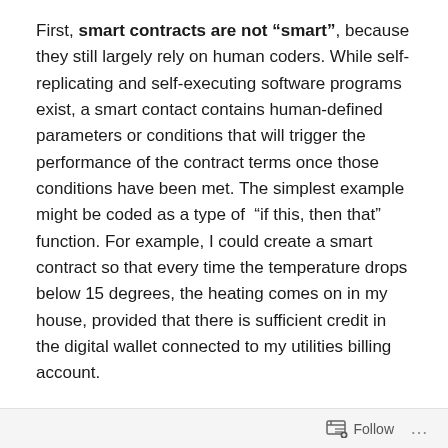First, smart contracts are not “smart”, because they still largely rely on human coders. While self-replicating and self-executing software programs exist, a smart contact contains human-defined parameters or conditions that will trigger the performance of the contract terms once those conditions have been met. The simplest example might be coded as a type of “if this, then that” function. For example, I could create a smart contract so that every time the temperature drops below 15 degrees, the heating comes on in my house, provided that there is sufficient credit in the digital wallet connected to my utilities billing account.
Second, smart contracts are not “legal”, unless they comprise the necessary elements that form a legally
Follow …